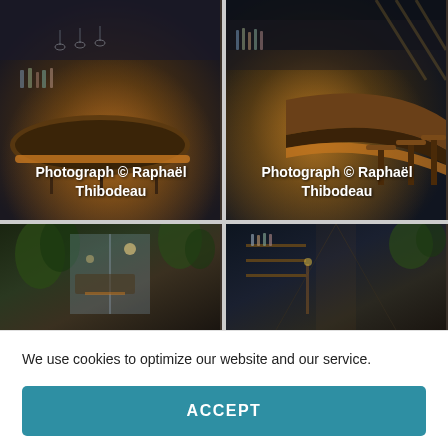[Figure (photo): Interior photo of a luxury bar with a circular wooden bar counter, warm amber lighting underneath, glasses and bottles on display, dark ceiling. Watermark text: Photograph © Raphaël Thibodeau]
[Figure (photo): Interior photo of the same luxury bar from a different angle showing bar stools, curved bar counter, bottles on shelves, warm amber lighting. Watermark text: Photograph © Raphaël Thibodeau]
[Figure (photo): Interior photo showing green plants, open glass doors leading to exterior, warm wooden accents, partially visible bar area.]
[Figure (photo): Interior photo showing a corridor or hallway with wooden shelving, bottles, plants, and atmospheric lighting.]
We use cookies to optimize our website and our service.
ACCEPT
Privacy Policy   Privacy Policy